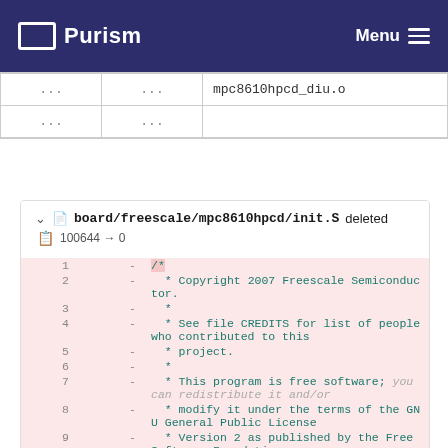[Figure (screenshot): Purism website navigation bar with logo and Menu button]
| ... | ... | mpc8610hpcd_diu.o |
| ... | ... |  |
board/freescale/mpc8610hpcd/init.S deleted
100644 → 0
1  -  /*
2  -    * Copyright 2007 Freescale Semiconductor.
3  -    *
4  -    * See file CREDITS for list of people who contributed to this
5  -    * project.
6  -    *
7  -    * This program is free software; you can redistribute it and/or
8  -    * modify it under the terms of the GNU General Public License
9  -    * Version 2 as published by the Free Software Foundation.